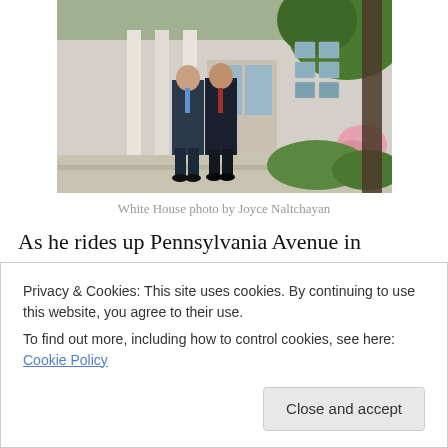[Figure (photo): Two men in suits walking outside what appears to be the White House colonnade area with columns, windows, and greenery visible]
White House photo by Joyce Naltchayan
As he rides up Pennsylvania Avenue in Washington on Thursday, Greek Prime Minister Antonis Samaras might allow himself a wry smile. For so long an outcast of Greek
Privacy & Cookies: This site uses cookies. By continuing to use this website, you agree to their use.
To find out more, including how to control cookies, see here: Cookie Policy